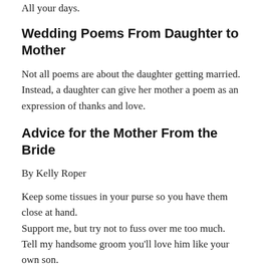All your days.
Wedding Poems From Daughter to Mother
Not all poems are about the daughter getting married. Instead, a daughter can give her mother a poem as an expression of thanks and love.
Advice for the Mother From the Bride
By Kelly Roper
Keep some tissues in your purse so you have them close at hand.
Support me, but try not to fuss over me too much.
Tell my handsome groom you'll love him like your own son.
Tell me you couldn't be prouder of me and the choices I've made.
Take a deep breath, let the usher escort you to your